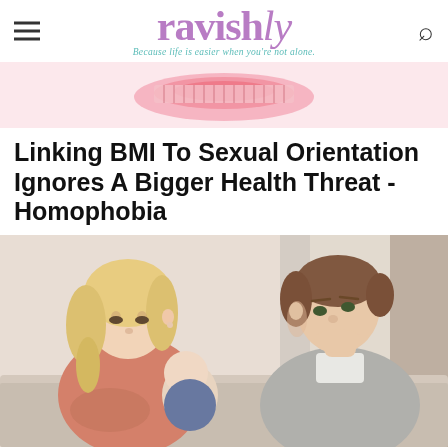ravishly — Because life is easier when you're not alone.
[Figure (photo): Pink measuring tape coiled up, partially visible at top of page]
Linking BMI To Sexual Orientation Ignores A Bigger Health Threat - Homophobia
[Figure (photo): A blonde woman in a pink/coral sweater holding a baby looking down, and a man in a grey sweater looking at her, sitting together in a domestic setting]